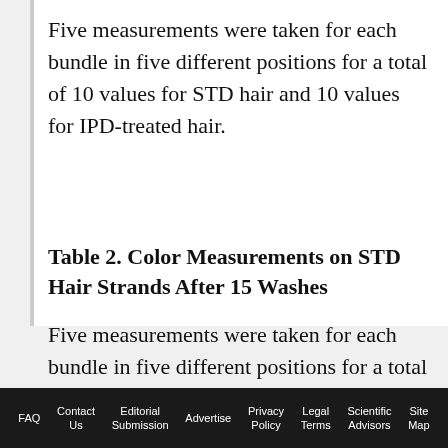Five measurements were taken for each bundle in five different positions for a total of 10 values for STD hair and 10 values for IPD-treated hair.
Table 2. Color Measurements on STD Hair Strands After 15 Washes
Five measurements were taken for each bundle in five different positions for a total of 10 values for STD hair and 10 values for IPD-treated hair.
FAQ  Contact Us  Editorial Submission  Advertise  Privacy Policy  Legal Terms  Scientific Advisors  Site Map